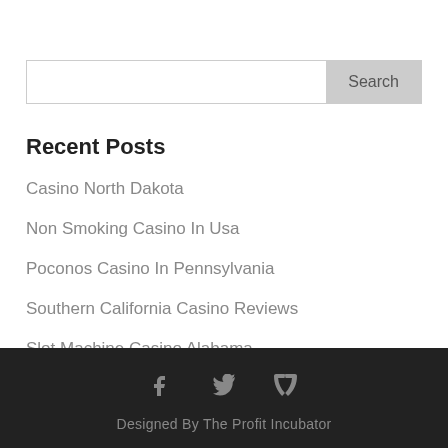Search
Recent Posts
Casino North Dakota
Non Smoking Casino In Usa
Poconos Casino In Pennsylvania
Southern California Casino Reviews
Slot Machine Casino Alabama
Designed By The Profit Incubator